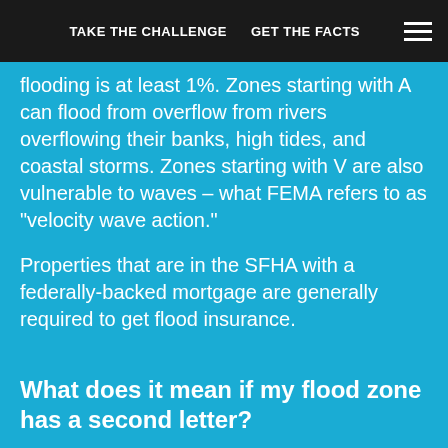TAKE THE CHALLENGE   GET THE FACTS
flooding is at least 1%. Zones starting with A can flood from overflow from rivers overflowing their banks, high tides, and coastal storms. Zones starting with V are also vulnerable to waves – what FEMA refers to as “velocity wave action.”
Properties that are in the SFHA with a federally-backed mortgage are generally required to get flood insurance.
What does it mean if my flood zone has a second letter?
If your flood zone ends with E (AE or VE), H, or O, a base flood elevation (the elevation of the water during the 1% annual chance